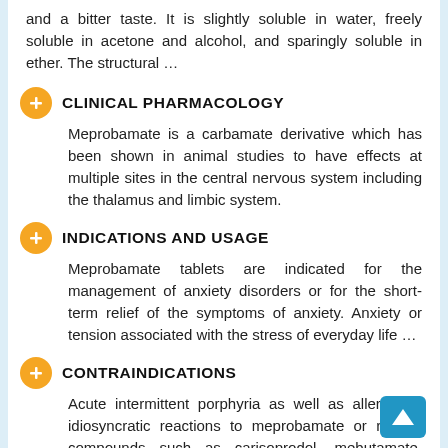and a bitter taste. It is slightly soluble in water, freely soluble in acetone and alcohol, and sparingly soluble in ether. The structural …
CLINICAL PHARMACOLOGY
Meprobamate is a carbamate derivative which has been shown in animal studies to have effects at multiple sites in the central nervous system including the thalamus and limbic system.
INDICATIONS AND USAGE
Meprobamate tablets are indicated for the management of anxiety disorders or for the short-term relief of the symptoms of anxiety. Anxiety or tension associated with the stress of everyday life …
CONTRAINDICATIONS
Acute intermittent porphyria as well as allergic or idiosyncratic reactions to meprobamate or related compounds such as carisoprodol, mebutamate, tybamate, or carbromal.
WARNINGS
Drug Dependence. Physical dependence, psychological